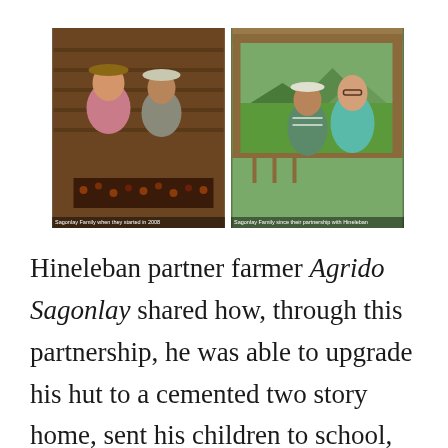[Figure (photo): Two side-by-side photographs of the Sagonlay Family. Left photo shows them sorting coffee beans when they started in 2008. Right photo shows the family at their home since their partnership with Hineleban, with scenic green fields in background.]
Hineleban partner farmer Agrido Sagonlay shared how, through this partnership, he was able to upgrade his hut to a cemented two story home, sent his children to school, and financed five motorcycles (for his habal-habal business), a jeepney (for public